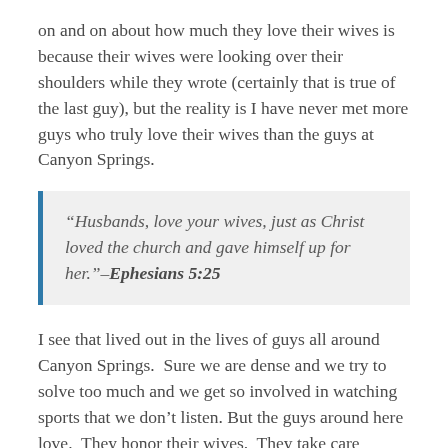on and on about how much they love their wives is because their wives were looking over their shoulders while they wrote (certainly that is true of the last guy), but the reality is I have never met more guys who truly love their wives than the guys at Canyon Springs.
“Husbands, love your wives, just as Christ loved the church and gave himself up for her.”–Ephesians 5:25
I see that lived out in the lives of guys all around Canyon Springs.  Sure we are dense and we try to solve too much and we get so involved in watching sports that we don’t listen. But the guys around here love.  They honor their wives.  They take care